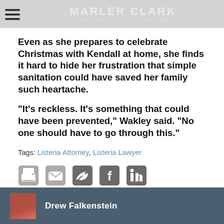MARLER CLARK THE FOOD SAFETY LAW FIRM
Even as she prepares to celebrate Christmas with Kendall at home, she finds it hard to hide her frustration that simple sanitation could have saved her family such heartache.
“It’s reckless. It’s something that could have been prevented,” Wakley said. “No one should have to go through this.”
Tags: Listeria Attorney, Listeria Lawyer
[Figure (other): Social sharing icons: print, email, Twitter, Facebook, LinkedIn]
Drew Falkenstein